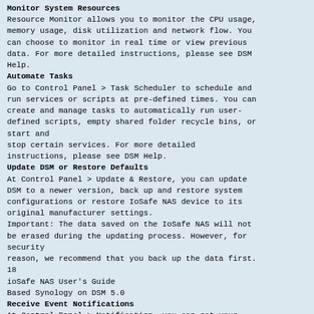Monitor System Resources
Resource Monitor allows you to monitor the CPU usage, memory usage, disk utilization and network flow. You can choose to monitor in real time or view previous data. For more detailed instructions, please see DSM Help.
Automate Tasks
Go to Control Panel > Task Scheduler to schedule and run services or scripts at pre-defined times. You can create and manage tasks to automatically run user-defined scripts, empty shared folder recycle bins, or start and stop certain services. For more detailed instructions, please see DSM Help.
Update DSM or Restore Defaults
At Control Panel > Update & Restore, you can update DSM to a newer version, back up and restore system configurations or restore IoSafe NAS device to its original manufacturer settings.
Important: The data saved on the IoSafe NAS will not be erased during the updating process. However, for security reason, we recommend that you back up the data first.
18
ioSafe NAS User's Guide
Based Synology on DSM 5.0
Receive Event Notifications
At Control Panel > Notification, you can set your IoSafe NAS to send notifications when specific events or errors occur, notifying you via email, SMS, mobile devices, Skype, or Windows Live Messenger. For more detailed instructions, please see DSM Help.